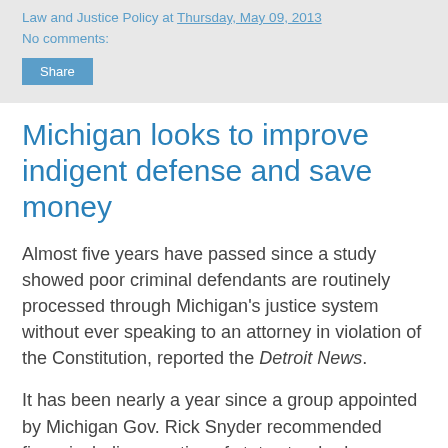Law and Justice Policy at Thursday, May 09, 2013
No comments:
Share
Michigan looks to improve indigent defense and save money
Almost five years have passed since a study showed poor criminal defendants are routinely processed through Michigan's justice system without ever speaking to an attorney in violation of the Constitution, reported the Detroit News.
It has been nearly a year since a group appointed by Michigan Gov. Rick Snyder recommended fixes, including creation of state standards so counties are forced to bring legal aid up to par.
"The big proponent from the state of Michigan is the